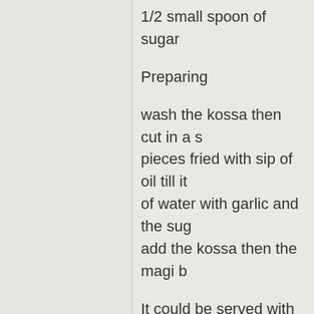1/2 small spoon of sugar
Preparing
wash the kossa then cut in a s... pieces fried with sip of oil till it ... of water with garlic and the sug... add the kossa then the magi b...
It could be served with rice or b...
Bel Hana we shefa
Top
profile
eshta
Post subject: